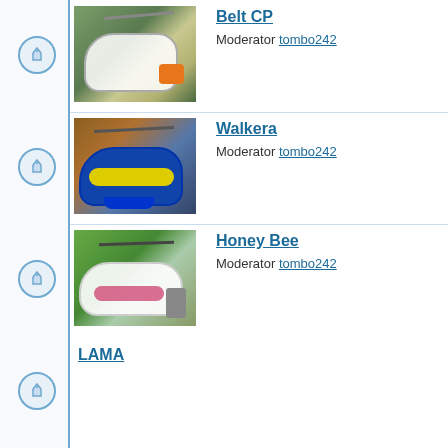Belt CP
Moderator tombo242
Walkera
Moderator tombo242
Honey Bee
Moderator tombo242
LAMA